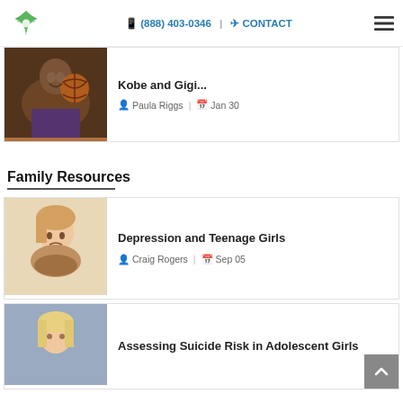(888) 403-0346  |  CONTACT
[Figure (photo): Kobe Bryant in Lakers uniform holding a basketball, smiling]
Kobe and Gigi...
Paula Riggs  |  Jan 30
Family Resources
[Figure (photo): Teenage girl looking sad, arms folded on knees]
Depression and Teenage Girls
Craig Rogers  |  Sep 05
[Figure (photo): Blonde adolescent girl looking down]
Assessing Suicide Risk in Adolescent Girls